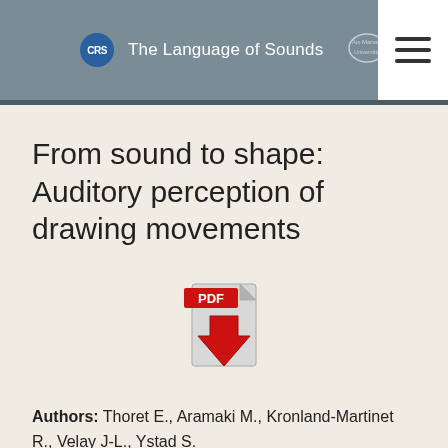The Language of Sounds
From sound to shape: Auditory perception of drawing movements
[Figure (illustration): Adobe PDF download icon — red downward arrow overlapping a PDF document graphic with 'PDF' label in red banner and 'Adobe' text on the document]
Authors: Thoret E., Aramaki M., Kronland-Martinet R., Velay J-L., Ystad S.
Publication Date: June 2014
Journal: Journal of Experimental Psychology: Human Perception